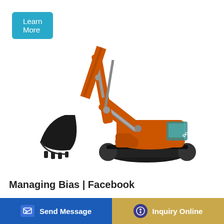[Figure (other): Blue 'Learn More' button in top-left corner]
[Figure (photo): Doosan orange crawler excavator with long arm and large bucket, on white background]
Managing Bias | Facebook
At Facebook, we believe that understanding and managing us bi... and inclusive organizations. These videos are designed to...
[Figure (other): Bottom bar with 'Send Message' blue button and 'Inquiry Online' gold/tan button]